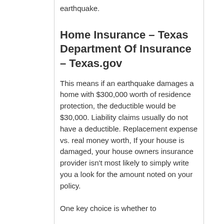earthquake.
Home Insurance – Texas Department Of Insurance – Texas.gov
This means if an earthquake damages a home with $300,000 worth of residence protection, the deductible would be $30,000. Liability claims usually do not have a deductible. Replacement expense vs. real money worth, If your house is damaged, your house owners insurance provider isn't most likely to simply write you a look for the amount noted on your policy.
One key choice is whether to